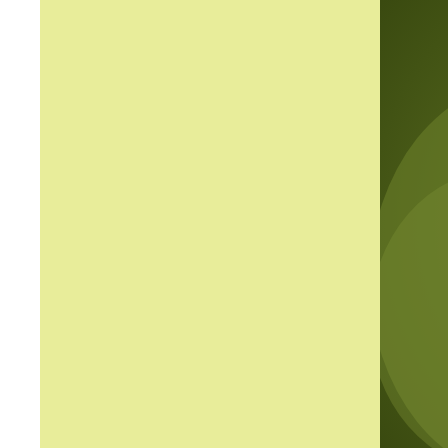[Figure (photo): A close-up photograph of an owl perched on a wooden stump or post, showing its brown and white speckled feathers on its body/back, with a blurred green background. The owl appears to be viewed from the side/back. A human hand or gloved hand is partially visible at the top right. The image is cropped so only the right portion of the scene is visible, taking up approximately the right 60% of the page. The left 40% of the page is a pale yellow-green color (#e8ed9a).]